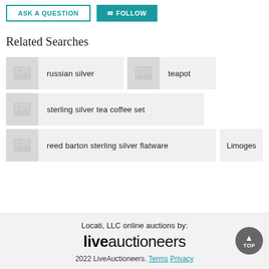[Figure (screenshot): ASK A QUESTION button and FOLLOW button at top of page]
Related Searches
russian silver
teapot
sterling silver tea coffee set
reed barton sterling silver flatware
Limoges
Locati, LLC online auctions by: liveauctioneers 2022 LiveAuctioneers. Terms Privacy